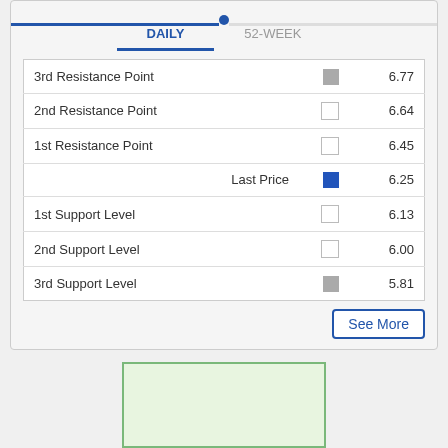| Label | Indicator | Value |
| --- | --- | --- |
| 3rd Resistance Point | gray square | 6.77 |
| 2nd Resistance Point | white square | 6.64 |
| 1st Resistance Point | white square | 6.45 |
| Last Price | blue square | 6.25 |
| 1st Support Level | white square | 6.13 |
| 2nd Support Level | white square | 6.00 |
| 3rd Support Level | gray square | 5.81 |
[Figure (other): Light green advertisement rectangle at bottom of page]